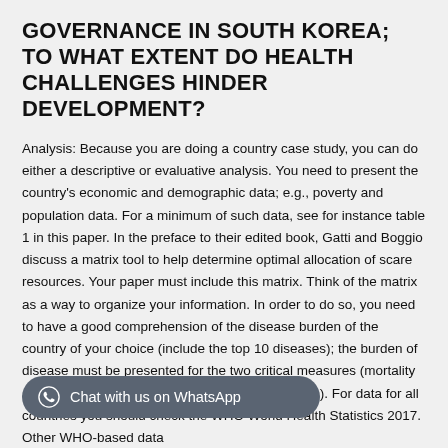GOVERNANCE IN SOUTH KOREA; TO WHAT EXTENT DO HEALTH CHALLENGES HINDER DEVELOPMENT?
Analysis: Because you are doing a country case study, you can do either a descriptive or evaluative analysis. You need to present the country's economic and demographic data; e.g., poverty and population data. For a minimum of such data, see for instance table 1 in this paper. In the preface to their edited book, Gatti and Boggio discuss a matrix tool to help determine optimal allocation of scare resources. Your paper must include this matrix. Think of the matrix as a way to organize your information. In order to do so, you need to have a good comprehension of the disease burden of the country of your choice (include the top 10 diseases); the burden of disease must be presented for the two critical measures (mortality and morbidity – incidence, prevalence and DALYs). For data for all countries you should check the WHO World Health Statistics 2017. Other WHO-based data...